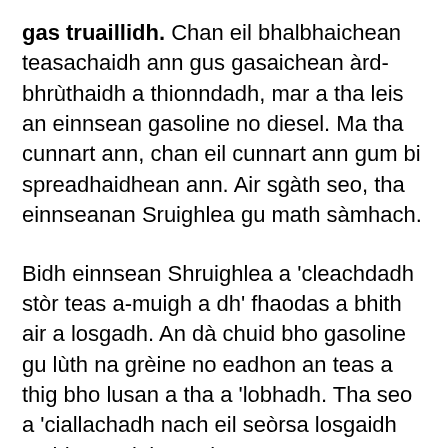gas truaillidh. Chan eil bhalbhaichean teasachaidh ann gus gasaichean àrd-bhrùthaidh a thionndadh, mar a tha leis an einnsean gasoline no diesel. Ma tha cunnart ann, chan eil cunnart ann gum bi spreadhaidhean ann. Air sgàth seo, tha einnseanan Sruighlea gu math sàmhach.
Bidh einnsean Shruighlea a 'cleachdadh stòr teas a-muigh a dh' fhaodas a bhith air a losgadh. An dà chuid bho gasoline gu lùth na grèine no eadhon an teas a thig bho lusan a tha a 'lobhadh. Tha seo a 'ciallachadh nach eil seòrsa losgaidh taobh a-staigh an einnsean.
Am prionnsapal leis a bheil einnsean Sruighlea ag obair is gu bheil tomhas stèidhichte de ghas air a